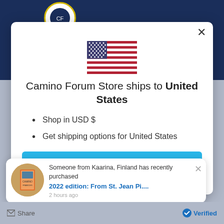[Figure (screenshot): Modal dialog showing a US flag, shipping destination text, bullet list, and Shop now button, overlaid on a website background with a toast notification at the bottom.]
Camino Forum Store ships to United States
Shop in USD $
Get shipping options for United States
Shop now
Someone from Kaarina, Finland has recently purchased 2022 edition: From St. Jean Pi....
2 hours ago
Share
Verified